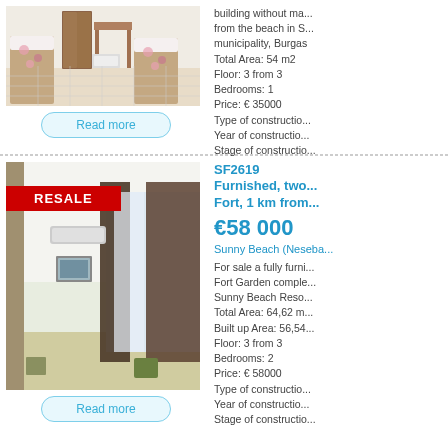[Figure (photo): Interior photo of a bedroom with two single beds with floral bedding, tile floor, wardrobe, and desk]
building without ma... from the beach in S... municipality, Burgas
Total Area: 54 m2
Floor: 3 from 3
Bedrooms: 1
Price: € 35000
Type of construction...
Year of construction...
Stage of constructio...
Read more
[Figure (photo): Interior photo of an apartment room with white walls, air conditioning unit, framed picture, large dark curtains and window]
SF2619
Furnished, two...
Fort, 1 km from...
€58 000
Sunny Beach (Neseba...
For sale a fully furni... Fort Garden comple... Sunny Beach Reso... Total Area: 64,62 m... Built up Area: 56,54... Floor: 3 from 3
Bedrooms: 2
Price: € 58000
Type of construction...
Year of construction...
Stage of constructio...
Read more